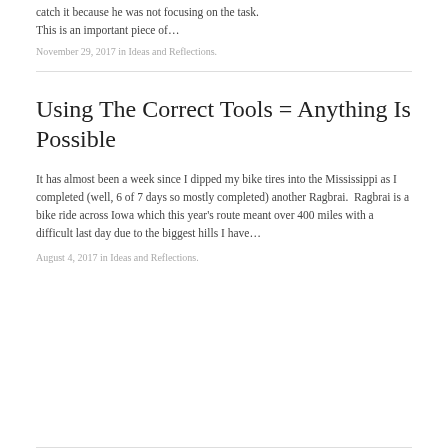catch it because he was not focusing on the task. This is an important piece of…
November 29, 2017 in Ideas and Reflections.
Using The Correct Tools = Anything Is Possible
It has almost been a week since I dipped my bike tires into the Mississippi as I completed (well, 6 of 7 days so mostly completed) another Ragbrai.  Ragbrai is a bike ride across Iowa which this year's route meant over 400 miles with a difficult last day due to the biggest hills I have…
August 4, 2017 in Ideas and Reflections.